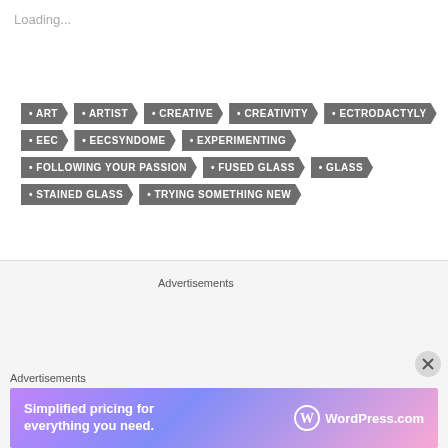Loading...
ART
ARTIST
CREATIVE
CREATIVITY
ECTRODACTYLY
EEC
EECSYNDOME
EXPERIMENTING
FOLLOWING YOUR PASSION
FUSED GLASS
GLASS
STAINED GLASS
TRYING SOMETHING NEW
Advertisements
[Figure (logo): WordPress logo in a circular badge on beige background]
Advertisements
[Figure (screenshot): WordPress.com advertisement banner: Simplified pricing for everything you need. WordPress.com]